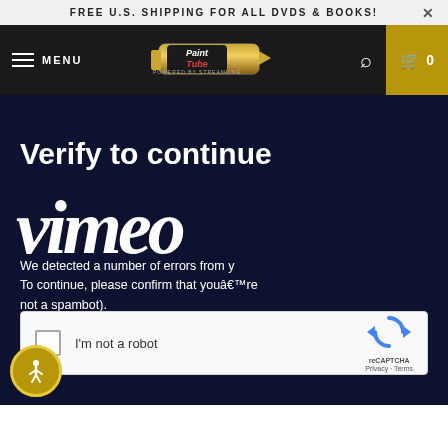FREE U.S. SHIPPING FOR ALL DVDS & BOOKS!
[Figure (logo): PaintTube navigation bar with hamburger menu, PaintTube logo (paint tube graphic), search icon, and cart icon with count 0]
Verify to continue
vimeo
We detected a number of errors from your IP address recently. To continue, please confirm that youâre not a spambot).
[Figure (other): reCAPTCHA widget with checkbox labeled 'I'm not a robot' and reCAPTCHA logo with Privacy · Terms]
[Figure (other): Accessibility/PageAssist circular button with person icon]